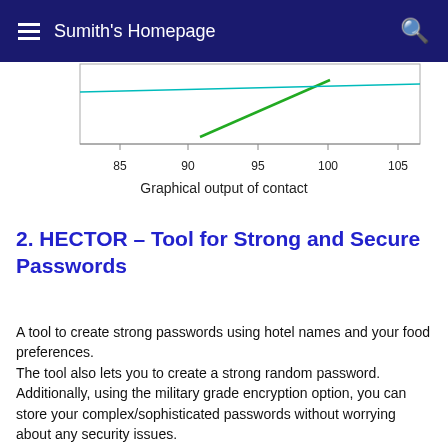Sumith's Homepage
[Figure (continuous-plot): Partial graphical output chart showing a green diagonal line on a white background with x-axis labels: 85, 90, 95, 100, 105]
Graphical output of contact
2. HECTOR – Tool for Strong and Secure Passwords
A tool to create strong passwords using hotel names and your food preferences.
The tool also lets you to create a strong random password. Additionally, using the military grade encryption option, you can store your complex/sophisticated passwords without worrying about any security issues.